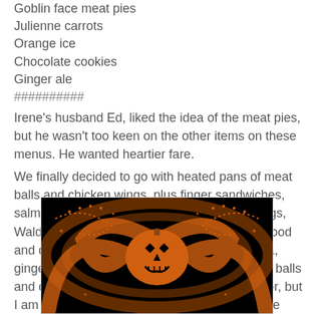Goblin face meat pies
Julienne carrots
Orange ice
Chocolate cookies
Ginger ale
##########
Irene's husband Ed, liked the idea of the meat pies, but he wasn't too keen on the other items on these menus. He wanted heartier fare.
We finally decided to go with heated pans of meat balls and chicken wings, plus finger sandwiches, salmon croquettes, cheese straws, deviled eggs, Waldorf salad, a carrot and celery tray, angel food and devil's food cakes, sweet cider, Coca-Cola, ginger ale, coffee, chicken corn, nuts, popcorn balls and caramel apples. We won't be serving liquor, but I am sure there will be a bottle or two of red eye passed around.
[Figure (illustration): Halloween themed illustration with orange jack-o-lantern and decorative swirls on black background]